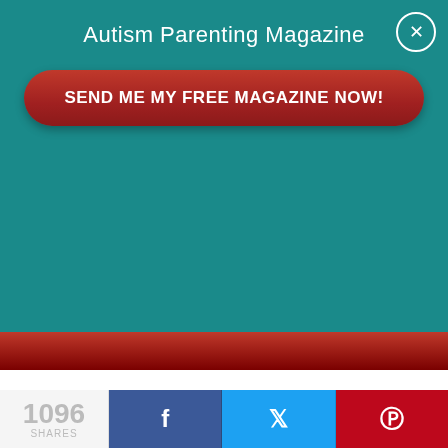Autism Parenting Magazine
SEND ME MY FREE MAGAZINE NOW!
time to look through it at the time, so I put it away and haven't thought of it since. I was glad to come across it the other day again. I'm so glad I didn't get rid of it – so many memories. One day I will sit down with DC and read the whole thing from beginning to end.

Below are a few randomly selected pages (most
1096 SHARES